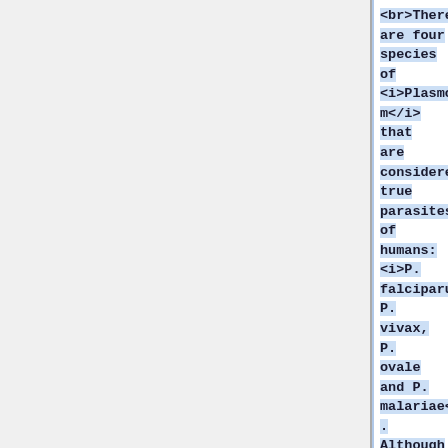<br>There are four species of <i>Plasmodium</i> that are considered true parasites of humans: <i>P. falciparum, P. vivax, P. ovale and P. malariae</i>. Although these species differ in their virulence,